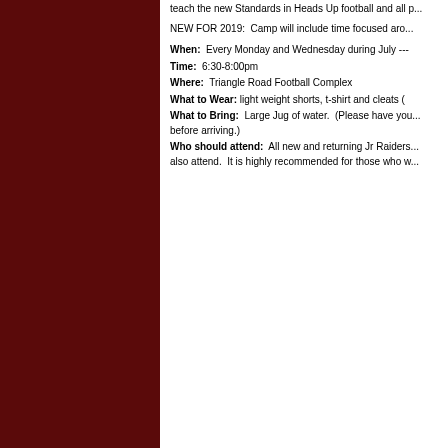teach the new Standards in Heads Up football and all p...
NEW FOR 2019:  Camp will include time focused aro...
When:  Every Monday and Wednesday during July ---
Time:  6:30-8:00pm
Where:  Triangle Road Football Complex
What to Wear:  light weight shorts, t-shirt and cleats (
What to Bring:  Large Jug of water.  (Please have you... before arriving.)
Who should attend:  All new and returning Jr Raiders... also attend.  It is highly recommended for those who w...